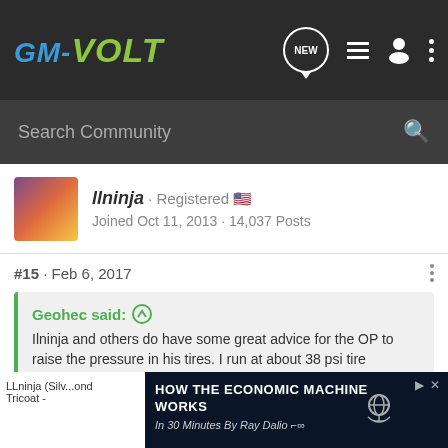GM-VOLT
Search Community
llninja · Registered
Joined Oct 11, 2013 · 14,037 Posts
#15 · Feb 6, 2017
Geohec said: ↑
Ilninja and others do have some great advice for the OP to raise the pressure in his tires. I run at about 38 psi tire pressure.
It's LLninja, not Ilninja... 🙂
LLninja (... ond
Tricoat -
[Figure (screenshot): Advertisement banner: HOW THE ECONOMIC MACHINE WORKS In 30 Minutes By Ray Dalio]